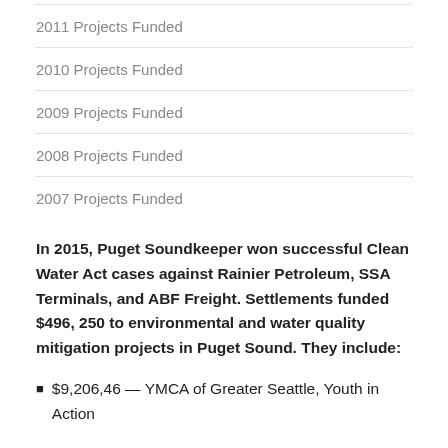2011 Projects Funded
2010 Projects Funded
2009 Projects Funded
2008 Projects Funded
2007 Projects Funded
In 2015, Puget Soundkeeper won successful Clean Water Act cases against Rainier Petroleum, SSA Terminals, and ABF Freight. Settlements funded $496, 250 to environmental and water quality mitigation projects in Puget Sound. They include:
$9,206,46 — YMCA of Greater Seattle, Youth in Action